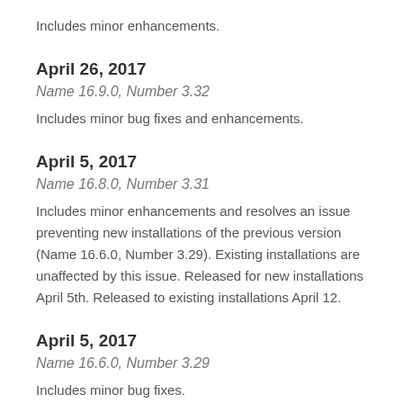Includes minor enhancements.
April 26, 2017
Name 16.9.0, Number 3.32
Includes minor bug fixes and enhancements.
April 5, 2017
Name 16.8.0, Number 3.31
Includes minor enhancements and resolves an issue preventing new installations of the previous version (Name 16.6.0, Number 3.29). Existing installations are unaffected by this issue. Released for new installations April 5th. Released to existing installations April 12.
April 5, 2017
Name 16.6.0, Number 3.29
Includes minor bug fixes.
March 30, 2017
Name 16.5.0, Number 3.28